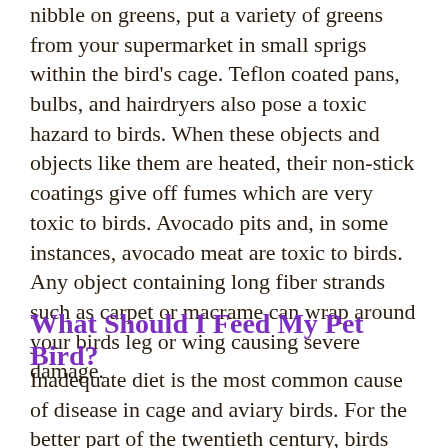nibble on greens, put a variety of greens from your supermarket in small sprigs within the bird's cage. Teflon coated pans, bulbs, and hairdryers also pose a toxic hazard to birds. When these objects and objects like them are heated, their non-stick coatings give off fumes which are very toxic to birds. Avocado pits and, in some instances, avocado meat are toxic to birds. Any object containing long fiber strands such as carpet or macrame can wrap around your birds leg or wing causing severe damage.
What Should I Feed My Pet Bird?
Inadequate diet is the most common cause of disease in cage and aviary birds. For the better part of the twentieth century, birds were fed